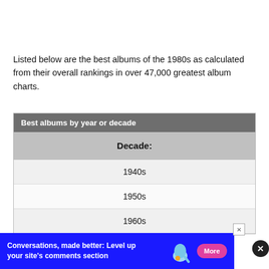Listed below are the best albums of the 1980s as calculated from their overall rankings in over 47,000 greatest album charts.
| Best albums by year or decade |
| --- |
| Decade: |
| 1940s |
| 1950s |
| 1960s |
[Figure (other): Advertisement banner: 'Conversations, made better: Level up your site's comments section' with a More button and close X button]